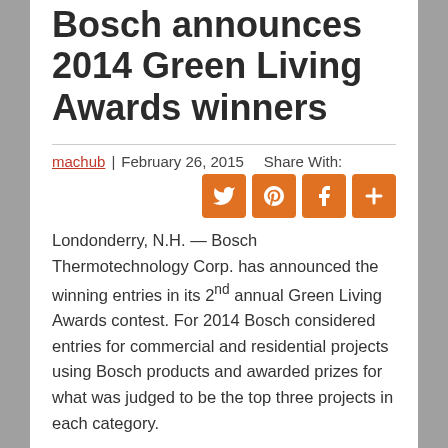Bosch announces 2014 Green Living Awards winners
machub | February 26, 2015  Share With:
Londonderry, N.H. — Bosch Thermotechnology Corp. has announced the winning entries in its 2nd annual Green Living Awards contest. For 2014 Bosch considered entries for commercial and residential projects using Bosch products and awarded prizes for what was judged to be the top three projects in each category.